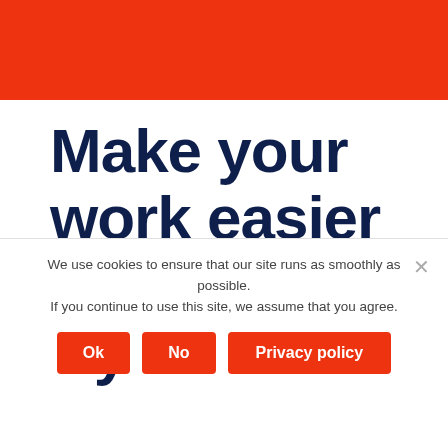Make your work easier with 3PL Dynamics
We use cookies to ensure that our site runs as smoothly as possible. If you continue to use this site, we assume that you agree.
Ok
No
Privacy policy